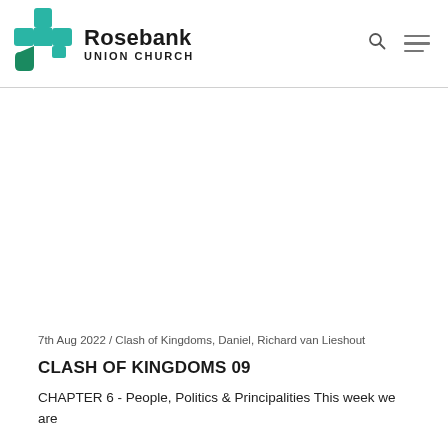[Figure (logo): Rosebank Union Church logo: teal/green cross symbol on the left, with 'Rosebank' in bold black text and 'UNION CHURCH' in smaller spaced caps below]
Rosebank UNION CHURCH
7th Aug 2022 / Clash of Kingdoms, Daniel, Richard van Lieshout
CLASH OF KINGDOMS 09
CHAPTER 6 - People, Politics & Principalities This week we are